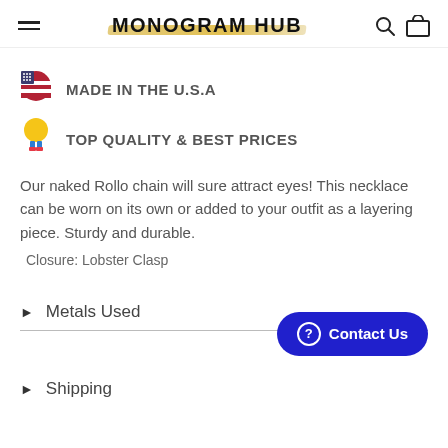MONOGRAM HUB
🇺🇸 MADE IN THE U.S.A
🏅 TOP QUALITY & BEST PRICES
Our naked Rollo chain will sure attract eyes! This necklace can be worn on its own or added to your outfit as a layering piece. Sturdy and durable.
Closure: Lobster Clasp
Metals Used
Shipping